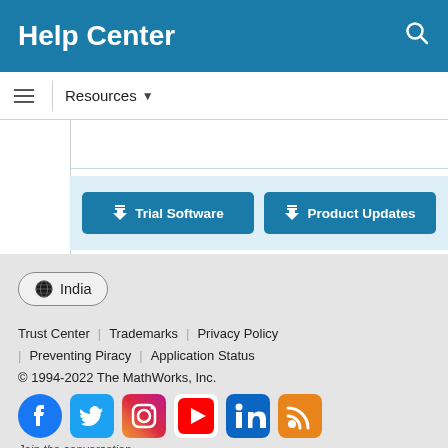Help Center
Resources ▼
Trial Software | Product Updates
India
Trust Center | Trademarks | Privacy Policy | Preventing Piracy | Application Status
© 1994-2022 The MathWorks, Inc.
Join the conversation